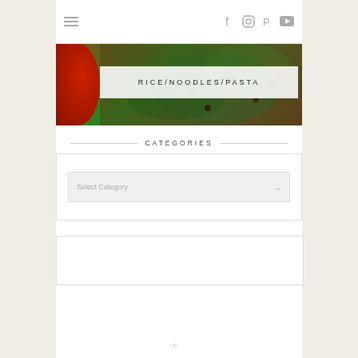Navigation bar with hamburger menu and social icons (Facebook, Instagram, Pinterest, YouTube)
[Figure (photo): Food blog hero image showing a red pot on the left with a rice/noodles dish garnished with herbs and nuts, overlaid with a white banner reading RICE/NOODLES/PASTA]
CATEGORIES
Select Category dropdown
[Figure (other): Empty white rectangular box with border]